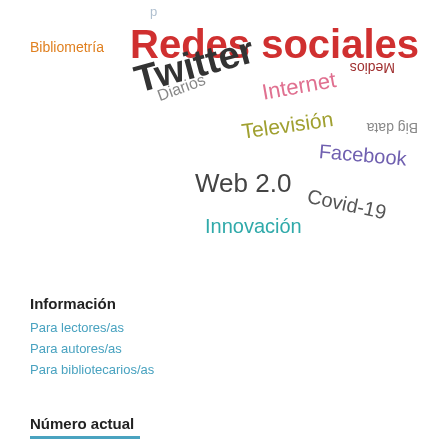[Figure (infographic): Word cloud in Spanish featuring terms related to social media and digital communication. Central large text: 'Redes sociales' in red. Other words include: Twitter (dark, large, rotated), Internet (pink), Televisión (olive/yellow, rotated), Facebook (purple), Covid-19 (dark gray), Web 2.0 (dark gray), Innovación (cyan), Bibliometría (orange, vertical), Diarios (gray, rotated), Medios (dark red, rotated), Big data (gray, vertical).]
Información
Para lectores/as
Para autores/as
Para bibliotecarios/as
Número actual